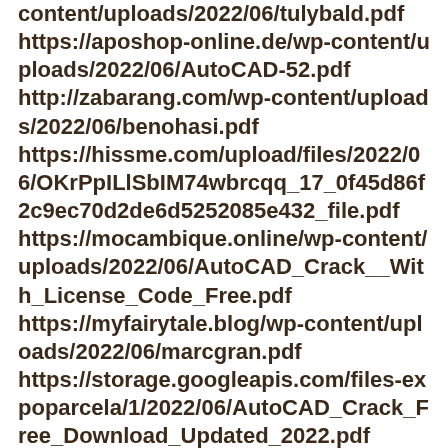content/uploads/2022/06/tulybald.pdf
https://aposhop-online.de/wp-content/uploads/2022/06/AutoCAD-52.pdf
http://zabarang.com/wp-content/uploads/2022/06/benohasi.pdf
https://hissme.com/upload/files/2022/06/OKrPpILlSbIM74wbrcqq_17_0f45d86f2c9ec70d2de6d5252085e432_file.pdf
https://mocambique.online/wp-content/uploads/2022/06/AutoCAD_Crack__With_License_Code_Free.pdf
https://myfairytale.blog/wp-content/uploads/2022/06/marcgran.pdf
https://storage.googleapis.com/files-expoparcela/1/2022/06/AutoCAD_Crack_Free_Download_Updated_2022.pdf
https://www.vakantiehuiswinkel.nl/wp-content/uploads/AutoCAD-63.pdf
https://directory-news.com/wp-content/uploads/2022/06/...